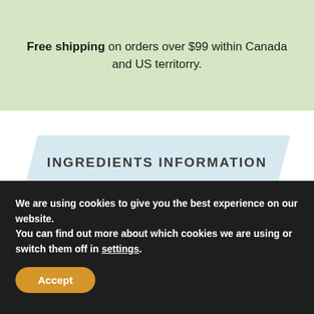Free shipping on orders over $99 within Canada and US territorry.
INGREDIENTS INFORMATION
UPGRADE YOUR EXPERIENCE
We are using cookies to give you the best experience on our website.
You can find out more about which cookies we are using or switch them off in settings.
Accept